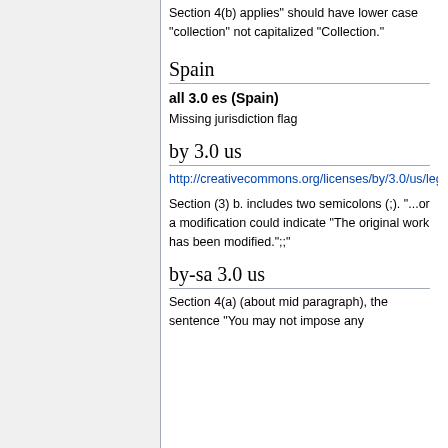Section 4(b) applies" should have lower case "collection" not capitalized "Collection."
Spain
all 3.0 es (Spain)
Missing jurisdiction flag
by 3.0 us
http://creativecommons.org/licenses/by/3.0/us/legalcode
Section (3) b. includes two semicolons (;). "...or a modification could indicate "The original work has been modified.";"
by-sa 3.0 us
Section 4(a) (about mid paragraph), the sentence "You may not impose any